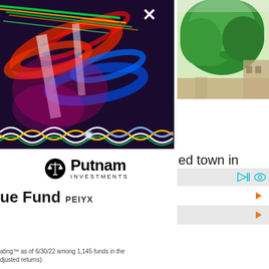[Figure (photo): Abstract colorful light streaks photo with DNA helix wave at bottom, dark background with red, blue, green, yellow lights]
[Figure (photo): Nature outdoor photo showing green trees and a building in background]
[Figure (logo): Putnam Investments logo with scales of justice icon in black circle]
ue Fund PEIYX
ed town in
ating™ as of 6/30/22 among 1,145 funds in the djusted returns).